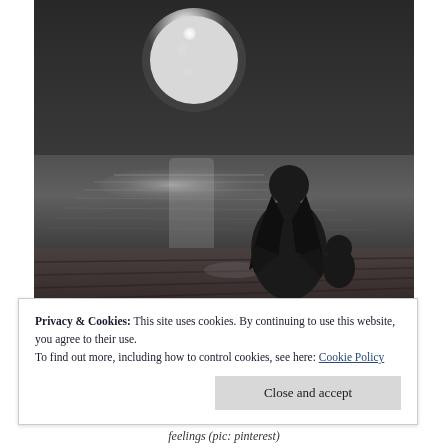[Figure (photo): Black and white photograph of a woman and child sitting on a wooden dock at night, with a large full moon reflected on the water behind them.]
Privacy & Cookies: This site uses cookies. By continuing to use this website, you agree to their use.
To find out more, including how to control cookies, see here: Cookie Policy
Close and accept
feelings (pic: pinterest)